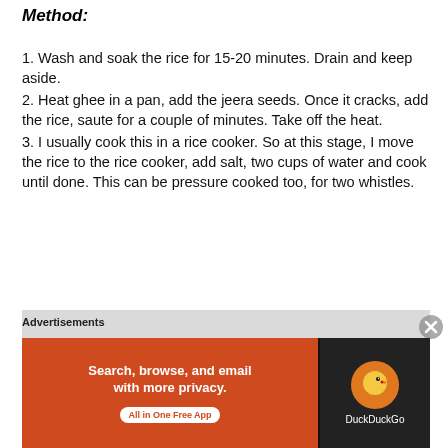Method:
1. Wash and soak the rice for 15-20 minutes. Drain and keep aside.
2. Heat ghee in a pan, add the jeera seeds. Once it cracks, add the rice, saute for a couple of minutes. Take off the heat.
3. I usually cook this in a rice cooker. So at this stage, I move the rice to the rice cooker, add salt, two cups of water and cook until done. This can be pressure cooked too, for two whistles.
[Figure (photo): A glass filled with dark red liquid (appears to be a drink) on a light grey background, partially visible on the right side of the image.]
Advertisements
[Figure (screenshot): DuckDuckGo advertisement banner: orange left panel saying 'Search, browse, and email with more privacy. All in One Free App' with a white button, and dark right panel with DuckDuckGo duck logo and name.]